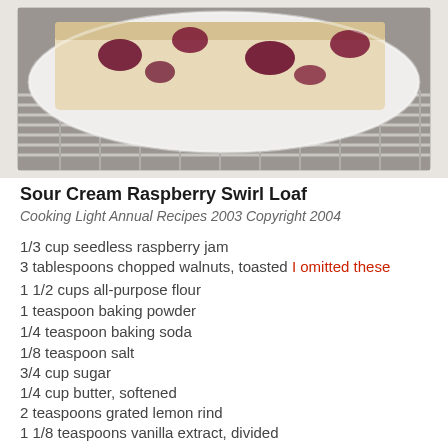[Figure (photo): Photo of a sliced sour cream raspberry swirl loaf on a white plate, resting on a wire cooling rack. The loaf shows cream-colored crumb with dark raspberry jam swirls.]
Sour Cream Raspberry Swirl Loaf
Cooking Light Annual Recipes 2003 Copyright 2004
1/3 cup seedless raspberry jam
3 tablespoons chopped walnuts, toasted I omitted these
1 1/2 cups all-purpose flour
1 teaspoon baking powder
1/4 teaspoon baking soda
1/8 teaspoon salt
3/4 cup sugar
1/4 cup butter, softened
2 teaspoons grated lemon rind
1 1/8 teaspoons vanilla extract, divided